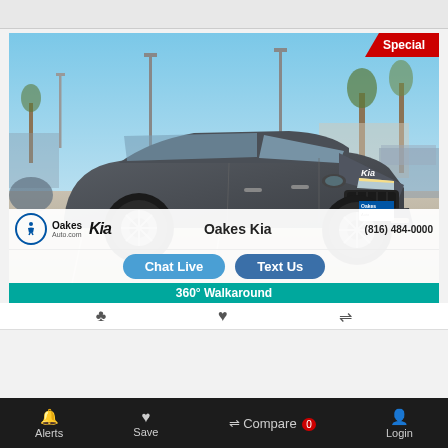[Figure (photo): Gray Kia Seltos SUV parked in a dealership lot, photographed from front-left angle. Blue sky with trees and dealer lot lights visible in background. Oakes Kia dealer badge visible on front bumper.]
Special
Oakes Kia
(816) 484-0000
Chat Live
Text Us
360° Walkaround
Alerts   Save   Compare 0   Login